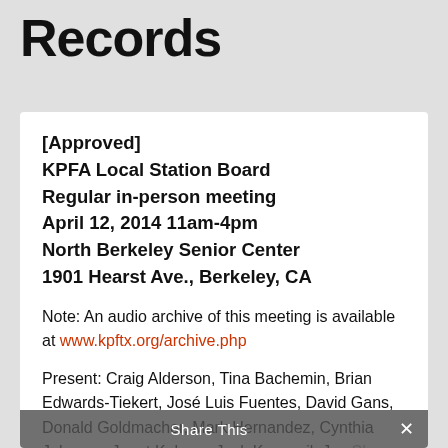Records
[Approved]
KPFA Local Station Board
Regular in-person meeting
April 12, 2014 11am-4pm
North Berkeley Senior Center
1901 Hearst Ave., Berkeley, CA
Note: An audio archive of this meeting is available at www.kpftx.org/archive.php
Present: Craig Alderson, Tina Bachemin, Brian Edwards-Tiekert, José Luis Fuentes, David Gans, Donald Goldmacher, Mark Hernandez, Cynthia Johnson, Janet Kobren, Jack Kurzweil, Joy Share This, Andrea Prichett,